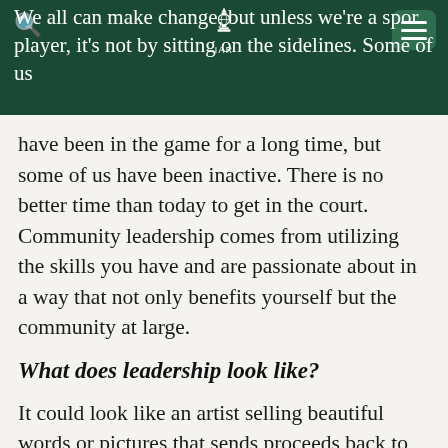We all can make change, but unless we're a sport player, it's not by sitting on the sidelines. Some of us
have been in the game for a long time, but some of us have been inactive. There is no better time than today to get in the court. Community leadership comes from utilizing the skills you have and are passionate about in a way that not only benefits yourself but the community at large.
What does leadership look like?
It could look like an artist selling beautiful words or pictures that sends proceeds back to the over 24 million people that need Humanitarian assistance in Yemen. It could look like a group of doctors, dentists, therapists, educators, engineers, and other